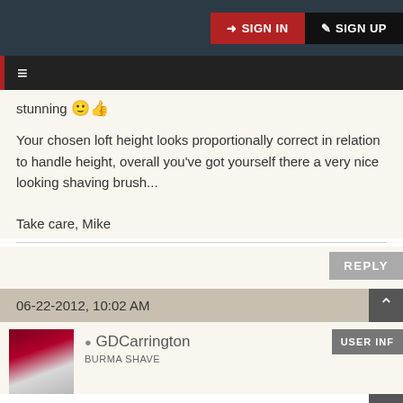SIGN IN  SIGN UP
stunning 😊👍
Your chosen loft height looks proportionally correct in relation to handle height, overall you've got yourself there a very nice looking shaving brush...

Take care, Mike
REPLY
06-22-2012, 10:02 AM
● GDCarrington
BURMA SHAVE
USER INF